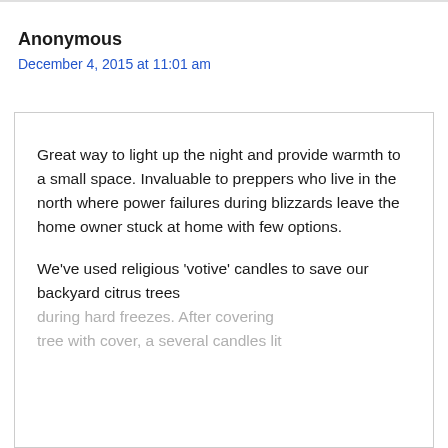Anonymous
December 4, 2015 at 11:01 am
Great way to light up the night and provide warmth to a small space. Invaluable to preppers who live in the north where power failures during blizzards leave the home owner stuck at home with few options.

We've used religious 'votive' candles to save our backyard citrus trees during hard freezes. After covering tree with cover, a several candles lit